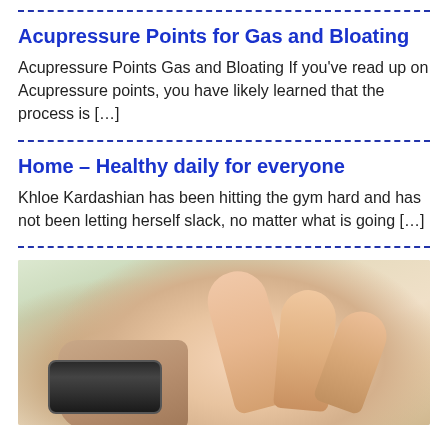Acupressure Points for Gas and Bloating
Acupressure Points Gas and Bloating If you’ve read up on Acupressure points, you have likely learned that the process is […]
Home – Healthy daily for everyone
Khloe Kardashian has been hitting the gym hard and has not been letting herself slack, no matter what is going […]
[Figure (photo): Close-up photo of hands performing acupressure, with bracelets visible on the wrist, soft blurred background]